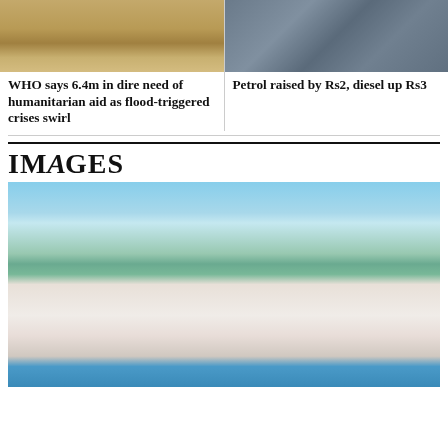[Figure (photo): Aerial or ground-level photo of flood-affected area with sandy/muddy terrain]
[Figure (photo): Photo of person on a motorbike with a red bag, flood-related context]
WHO says 6.4m in dire need of humanitarian aid as flood-triggered crises swirl
Petrol raised by Rs2, diesel up Rs3
IMAGES
[Figure (photo): Man in white shirt giving thumbs up from a boat on flood water, with another person visible behind him and flooded landscape in background]